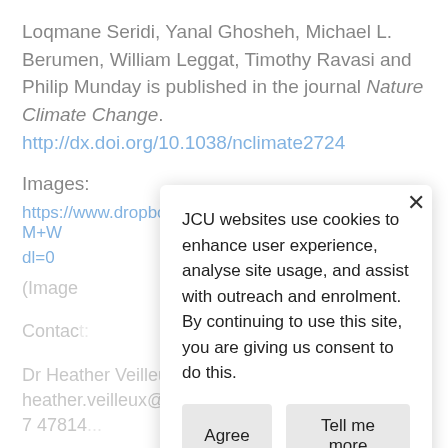Loqmane Seridi, Yanal Ghosheh, Michael L. Berumen, William Leggat, Timothy Ravasi and Philip Munday is published in the journal Nature Climate Change. http://dx.doi.org/10.1038/nclimate2724
Images:
https://www.dropbox.com/sh/jauy0wglioes1vu/AARxiM+W...dl=0
(Image files are in the Dropbox folder)
Contact:
Dr Heather Veilleux — heather.veilleux@jcu.edu.au, +61 7 47814...
ARC Centre of Excellence for Coral Reef Studies
Professor P... — ...@jcu.edu.au, +61 (0) 7 47815341
JCU websites use cookies to enhance user experience, analyse site usage, and assist with outreach and enrolment. By continuing to use this site, you are giving us consent to do this.